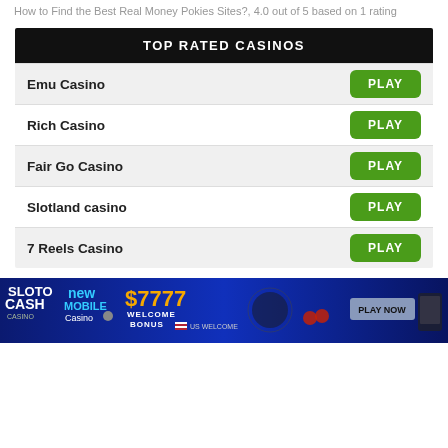How to Find the Best Real Money Pokies Sites?, 4.0 out of 5 based on 1 rating
| TOP RATED CASINOS |  |
| --- | --- |
| Emu Casino | PLAY |
| Rich Casino | PLAY |
| Fair Go Casino | PLAY |
| Slotland casino | PLAY |
| 7 Reels Casino | PLAY |
[Figure (infographic): Sloto Cash Casino advertisement banner showing '$7777 Welcome Bonus' for new mobile casino, US Welcome, with Play Now button]